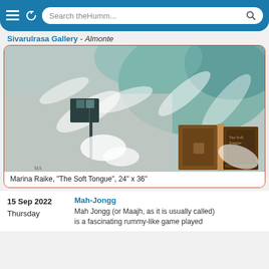Search theHumm...
Sivarulrasa Gallery - Almonte
[Figure (photo): Mixed media artwork by Marina Raike titled 'The Soft Tongue', 24" x 36". Abstract painting with teal, grey and white tones featuring botanical elements and collaged vintage book covers.]
Marina Raike, "The Soft Tongue", 24" x 36"
15 Sep 2022
Thursday
Mah-Jongg
Mah Jongg (or Maajh, as it is usually called) is a fascinating rummy-like game played